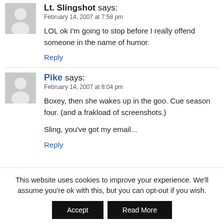Lt. Slingshot says: February 14, 2007 at 7:58 pm
LOL ok I'm going to stop before I really offend someone in the name of humor.
Reply
Pike says: February 14, 2007 at 8:04 pm
Boxey, then she wakes up in the goo. Cue season four. (and a frakload of screenshots.)
Sling, you've got my email...
Reply
This website uses cookies to improve your experience. We'll assume you're ok with this, but you can opt-out if you wish.
Accept
Read More